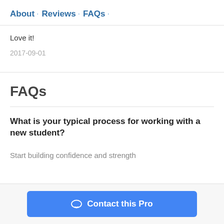About · Reviews · FAQs ·
Love it!
2017-09-01
FAQs
What is your typical process for working with a new student?
Start building confidence and strength
Contact this Pro